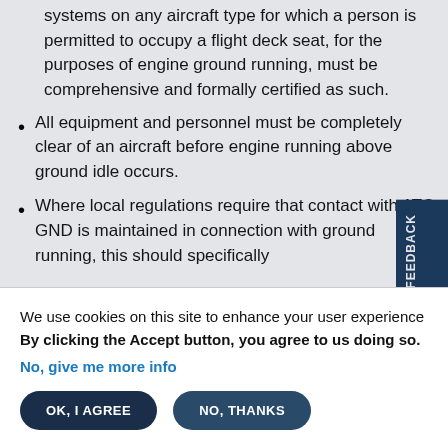Knowledge of the brake and hydraulic systems on any aircraft type for which a person is permitted to occupy a flight deck seat, for the purposes of engine ground running, must be comprehensive and formally certified as such.
All equipment and personnel must be completely clear of an aircraft before engine running above ground idle occurs.
Where local regulations require that contact with ATC GND is maintained in connection with ground running, this should specifically
We use cookies on this site to enhance your user experience
By clicking the Accept button, you agree to us doing so.
No, give me more info